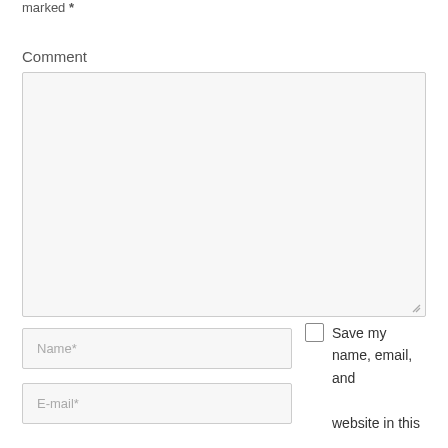marked *
Comment
[Figure (other): Large empty comment textarea input box with resize handle]
[Figure (other): Name* text input field]
[Figure (other): E-mail* text input field]
Save my name, email, and website in this browser for the next time I